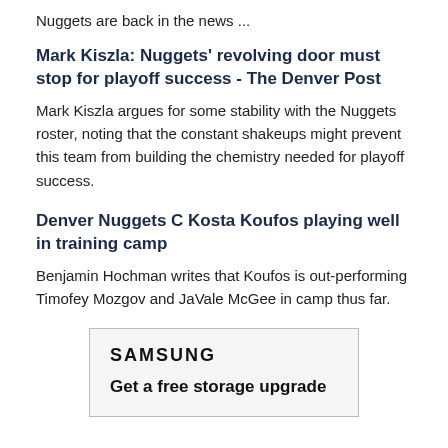Nuggets are back in the news ...
Mark Kiszla: Nuggets' revolving door must stop for playoff success - The Denver Post
Mark Kiszla argues for some stability with the Nuggets roster, noting that the constant shakeups might prevent this team from building the chemistry needed for playoff success.
Denver Nuggets C Kosta Koufos playing well in training camp
Benjamin Hochman writes that Koufos is out-performing Timofey Mozgov and JaVale McGee in camp thus far.
[Figure (other): Samsung advertisement box with bold 'SAMSUNG' logo text and tagline 'Get a free storage upgrade']